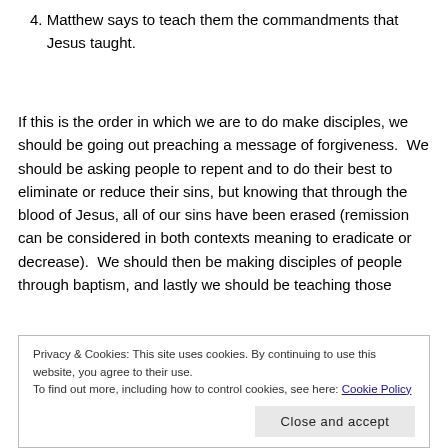4. Matthew says to teach them the commandments that Jesus taught.
If this is the order in which we are to do make disciples, we should be going out preaching a message of forgiveness.  We should be asking people to repent and to do their best to eliminate or reduce their sins, but knowing that through the blood of Jesus, all of our sins have been erased (remission can be considered in both contexts meaning to eradicate or decrease).  We should then be making disciples of people through baptism, and lastly we should be teaching those
Privacy & Cookies: This site uses cookies. By continuing to use this website, you agree to their use.
To find out more, including how to control cookies, see here: Cookie Policy